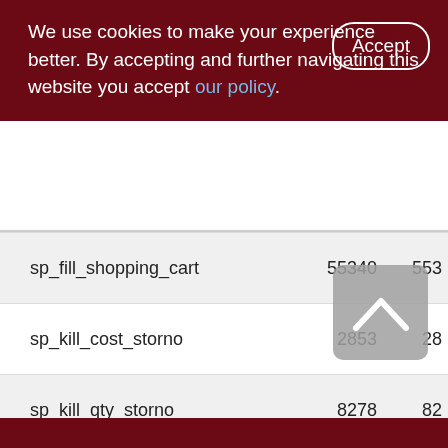We use cookies to make your experience better. By accepting and further navigating this website you accept our policy.
|  |  |  |
| --- | --- | --- |
| sp_fill_shopping_cart | 55340 | 553 |
| sp_kill_cost_storno | 2853 | 28 |
| sp_kill_qty_storno | 8278 | 82 |
| sp_lock_selected_doc | 16548 | 110 |
| sp_make_cost_storno | 372.2 | 372 |